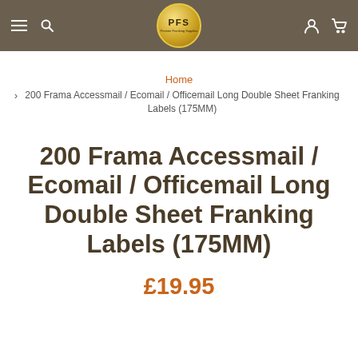PFS — Premier Franking Supplies navigation bar
Home
> 200 Frama Accessmail / Ecomail / Officemail Long Double Sheet Franking Labels (175MM)
200 Frama Accessmail / Ecomail / Officemail Long Double Sheet Franking Labels (175MM)
£19.95